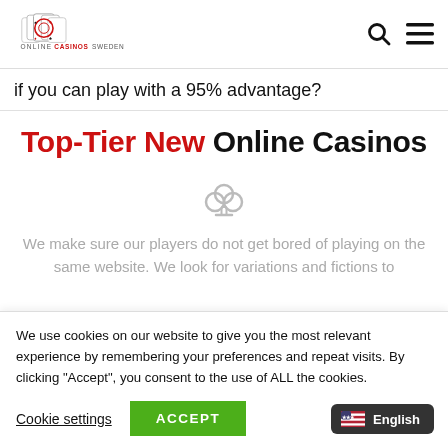Online Casinos Sweden logo with search and menu icons
if you can play with a 95% advantage?
Top-Tier New Online Casinos
[Figure (illustration): Gray club suit card symbol icon]
We make sure our players do not get bored of playing on the same website. We look for variations and fictions to
We use cookies on our website to give you the most relevant experience by remembering your preferences and repeat visits. By clicking “Accept”, you consent to the use of ALL the cookies.
Cookie settings   ACCEPT
English